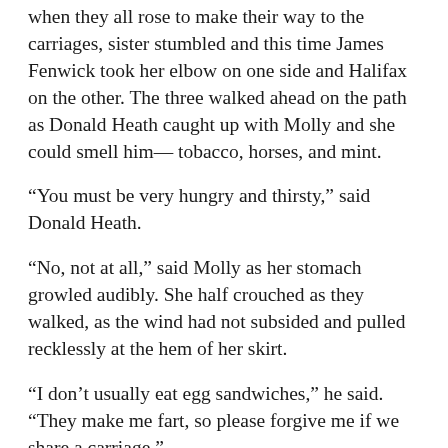when they all rose to make their way to the carriages, sister stumbled and this time James Fenwick took her elbow on one side and Halifax on the other. The three walked ahead on the path as Donald Heath caught up with Molly and she could smell him— tobacco, horses, and mint.
“You must be very hungry and thirsty,” said Donald Heath.
“No, not at all,” said Molly as her stomach growled audibly. She half crouched as they walked, as the wind had not subsided and pulled recklessly at the hem of her skirt.
“I don’t usually eat egg sandwiches,” he said. “They make me fart, so please forgive me if we share a carriage.”
Molly let out a rather ungodly snort, before blushing rouge from head to toe. Donald Heath, victorious, grinned broadly, took her elbow and whispered in her ear, “One day you’ll be my wife, and we’ll drink claret, spill it on our clothes, and—”
“—eat egg sandwiches all day long and fart as much as we choose,” said Molly. The wind calmed and they were suddenly